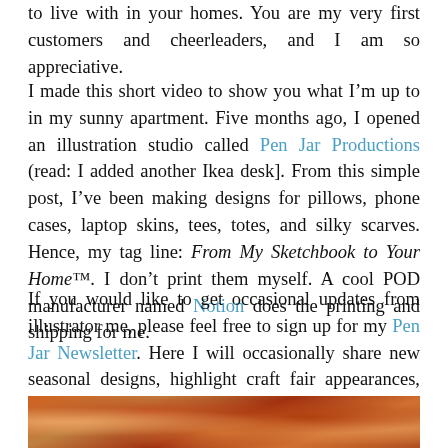to live with in your homes. You are my very first customers and cheerleaders, and I am so appreciative.
I made this short video to show you what I’m up to in my sunny apartment. Five months ago, I opened an illustration studio called Pen Jar Productions (read: I added another Ikea desk]. From this simple post, I’ve been making designs for pillows, phone cases, laptop skins, tees, totes, and silky scarves. Hence, my tag line: From My Sketchbook to Your Home™. I don’t print them myself. A cool POD manufacturer named Notion does the printing and shipping for me.
If you would like to get occasional updates from illustrator me, please feel free to sign up for my Pen Jar Newsletter. Here I will occasionally share new seasonal designs, highlight craft fair appearances, and offer special discount codes for subscribers. You have the option to unsubscribe whenever you want (I take no prisoners).
[Figure (photo): Colorful illustration or textile pattern strip at the bottom of the page, featuring warm orange, red, and brown tones.]